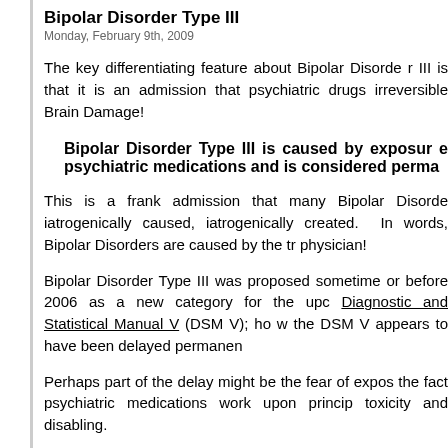Bipolar Disorder Type III
Monday, February 9th, 2009
The key differentiating feature about Bipolar Disorder III is that it is an admission that psychiatric drugs irreversible Brain Damage!
Bipolar Disorder Type III is caused by exposure psychiatric medications and is considered perma...
This is a frank admission that many Bipolar Disorder iatrogenically caused, iatrogenically created. In words, Bipolar Disorders are caused by the tr physician!
Bipolar Disorder Type III was proposed sometime or before 2006 as a new category for the upc Diagnostic and Statistical Manual V (DSM V); ho the DSM V appears to have been delayed permanen
Perhaps part of the delay might be the fear of expos the fact psychiatric medications work upon princ toxicity and disabling.
Rather than “fix” chemical imbalances, they “ca chemical imbalances!